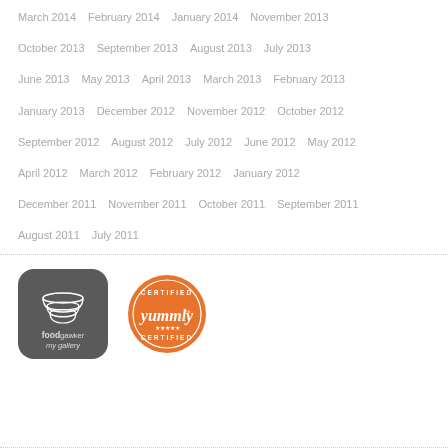March 2014  February 2014  January 2014  November 2013
October 2013  September 2013  August 2013  July 2013
June 2013  May 2013  April 2013  March 2013  February 2013
January 2013  December 2012  November 2012  October 2012
September 2012  August 2012  July 2012  June 2012  May 2012
April 2012  March 2012  February 2012  January 2012
December 2011  November 2011  October 2011  September 2011
August 2011  July 2011
[Figure (logo): foodgawker my gallery logo - dark grey rounded square with white bowl icon]
[Figure (logo): Yummly Certified badge - orange circular seal with Yummly text]